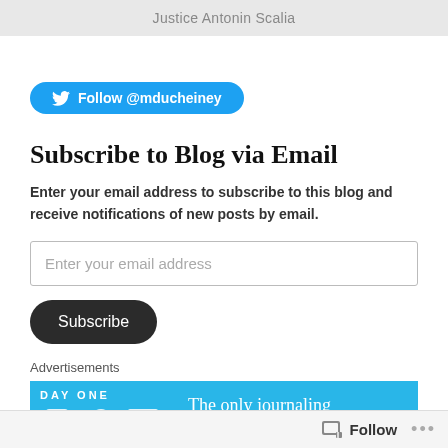Justice Antonin Scalia
[Figure (other): Twitter Follow button with @mducheiney handle]
Subscribe to Blog via Email
Enter your email address to subscribe to this blog and receive notifications of new posts by email.
[Figure (screenshot): Email input field with placeholder text 'Enter your email address']
[Figure (other): Subscribe button]
Advertisements
[Figure (other): Day One app advertisement banner: 'The only journaling app you'll ever need.']
Follow